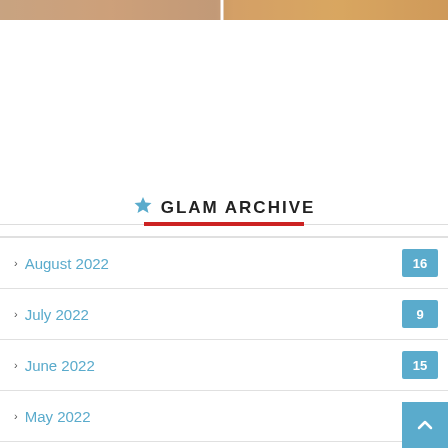[Figure (photo): Image strip at top of page showing partial photo thumbnails]
GLAM ARCHIVE
August 2022
July 2022
June 2022
May 2022
April 2022